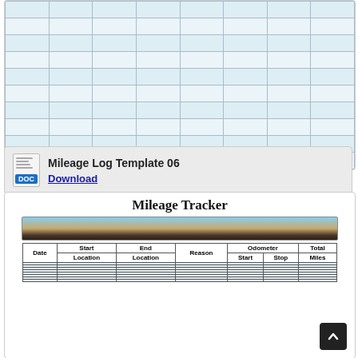|  |  |  |  |  |  |  |  |
|  |  |  |  |  |  |  |  |
|  |  |  |  |  |  |  |  |
|  |  |  |  |  |  |  |  |
|  |  |  |  |  |  |  |  |
|  |  |  |  |  |  |  |  |
|  |  |  |  |  |  |  |  |
|  |  |  |  |  |  |  |  |
|  |  |  |  |  |  |  |  |
|  |  |  |  |  |  |  |  |
Mileage Log Template 06
Download
Mileage Tracker
[Figure (photo): Landscape photo showing a coastline or desert terrain with sky]
| Date | Start Location | End Location | Reason | Odometer Start | Odometer Stop | Total Miles |
| --- | --- | --- | --- | --- | --- | --- |
|  |  |  |  |  |  |  |
|  |  |  |  |  |  |  |
|  |  |  |  |  |  |  |
|  |  |  |  |  |  |  |
|  |  |  |  |  |  |  |
|  |  |  |  |  |  |  |
|  |  |  |  |  |  |  |
|  |  |  |  |  |  |  |